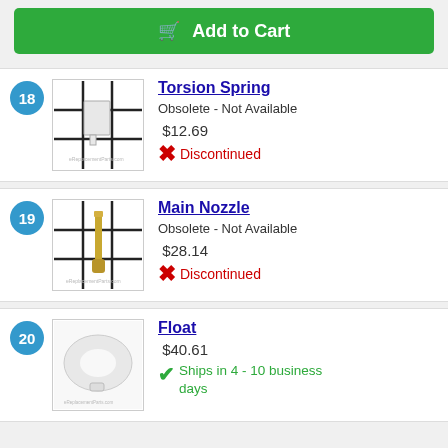Add to Cart
18 Torsion Spring — Obsolete - Not Available — $12.69 — Discontinued
19 Main Nozzle — Obsolete - Not Available — $28.14 — Discontinued
20 Float — $40.61 — Ships in 4 - 10 business days